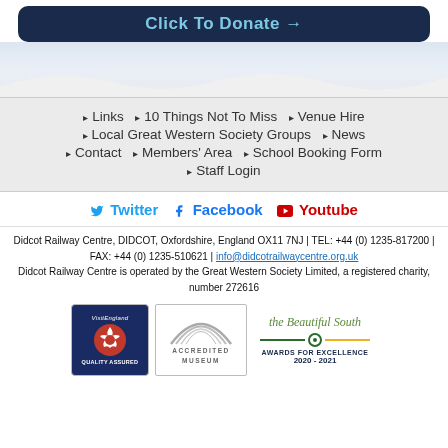Click To Donate →
▸ Links  ▸ 10 Things Not To Miss  ▸ Venue Hire
▸ Local Great Western Society Groups  ▸ News
▸ Contact  ▸ Members' Area  ▸ School Booking Form
▸ Staff Login
Twitter  Facebook  Youtube
Didcot Railway Centre, DIDCOT, Oxfordshire, England OX11 7NJ | TEL: +44 (0) 1235-817200 | FAX: +44 (0) 1235-510621 | info@didcotrailwaycentre.org.uk
Didcot Railway Centre is operated by the Great Western Society Limited, a registered charity, number 272616
[Figure (logo): Three logos: VisitEngland Quality Assured badge, Accredited Museum badge, and The Beautiful South Awards for Excellence 2020-2021]